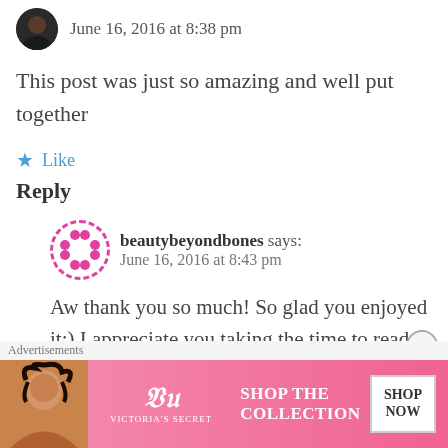June 16, 2016 at 8:38 pm
This post was just so amazing and well put together
Like
Reply
beautybeyondbones says: June 16, 2016 at 8:43 pm
Aw thank you so much! So glad you enjoyed it:) I appreciate you taking the time to read. Hugs and
[Figure (photo): Victoria's Secret advertisement banner with woman, VS logo, SHOP THE COLLECTION text and SHOP NOW button]